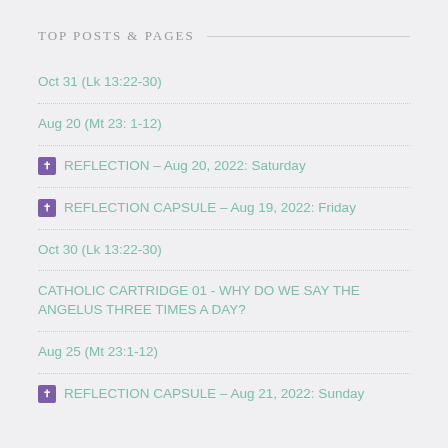TOP POSTS & PAGES
Oct 31 (Lk 13:22-30)
Aug 20 (Mt 23: 1-12)
✝ REFLECTION – Aug 20, 2022: Saturday
✝ REFLECTION CAPSULE – Aug 19, 2022: Friday
Oct 30 (Lk 13:22-30)
CATHOLIC CARTRIDGE 01 - WHY DO WE SAY THE ANGELUS THREE TIMES A DAY?
Aug 25 (Mt 23:1-12)
✝ REFLECTION CAPSULE – Aug 21, 2022: Sunday